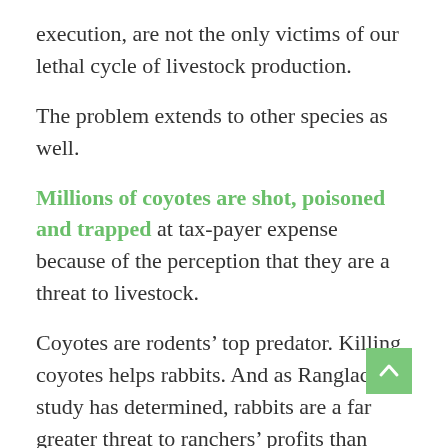execution, are not the only victims of our lethal cycle of livestock production.
The problem extends to other species as well.
Millions of coyotes are shot, poisoned and trapped at tax-payer expense because of the perception that they are a threat to livestock.
Coyotes are rodents’ top predator. Killing coyotes helps rabbits. And as Ranglack’s study has determined, rabbits are a far greater threat to ranchers’ profits than coyotes.
For many in the livestock industry, it looks to